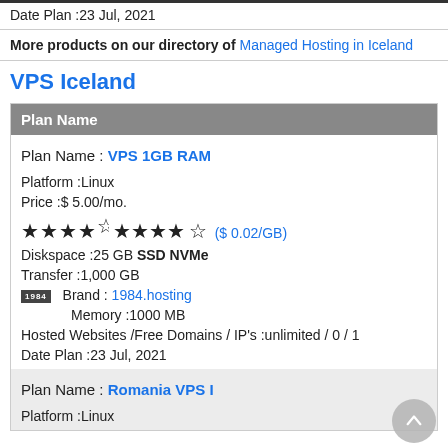Date Plan :23 Jul, 2021
More products on our directory of Managed Hosting in Iceland
VPS Iceland
| Plan Name |
| --- |
| Plan Name :VPS 1GB RAM |
| Platform :Linux |
| Price :$ 5.00/mo. |
| ★★★★☆ ($ 0.02/GB) |
| Diskspace :25 GB SSD NVMe |
| Transfer :1,000 GB |
| Brand :1984.hosting |
| Memory :1000 MB |
| Hosted Websites /Free Domains / IP's :unlimited / 0 / 1 |
| Date Plan :23 Jul, 2021 |
| Plan Name :Romania VPS I |
| Platform :Linux |
Platform :Linux